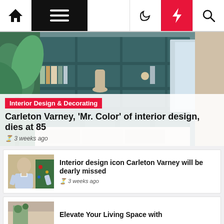Navigation bar with home, menu, moon, lightning, and search icons
[Figure (photo): Interior design room with teal built-in shelving, plants, books, and neutral sofa with pillows]
Interior Design & Decorating
Carleton Varney, 'Mr. Color' of interior design, dies at 85
3 weeks ago
[Figure (photo): Portrait of Carleton Varney, an elderly man in a light blue shirt with arms crossed, smiling]
Interior design icon Carleton Varney will be dearly missed
3 weeks ago
[Figure (photo): Partial image of article about elevating living space]
Elevate Your Living Space with